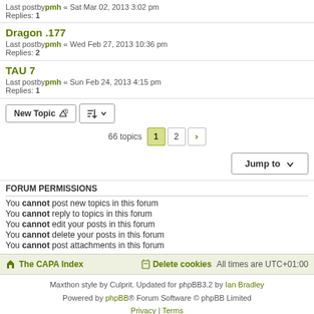Last postby pmh « Sat Mar 02, 2013 3:02 pm
Replies: 1
Dragon .177
Last postby pmh « Wed Feb 27, 2013 10:36 pm
Replies: 2
TAU 7
Last postby pmh « Sun Feb 24, 2013 4:15 pm
Replies: 1
New Topic button row and pagination: 66 topics, pages 1 2 >
Jump to
FORUM PERMISSIONS
You cannot post new topics in this forum
You cannot reply to topics in this forum
You cannot edit your posts in this forum
You cannot delete your posts in this forum
You cannot post attachments in this forum
The CAPA Index | Delete cookies | All times are UTC+01:00 | Maxthon style by Culprit. Updated for phpBB3.2 by Ian Bradley | Powered by phpBB® Forum Software © phpBB Limited | Privacy | Terms